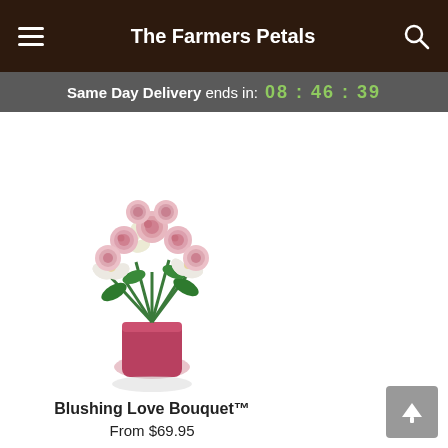The Farmers Petals
Same Day Delivery ends in: 08 : 46 : 39
[Figure (photo): A bouquet of pink roses and white alstroemeria flowers arranged in a pink cylindrical vase, with green leaves, casting a soft shadow.]
Blushing Love Bouquet™
From $69.95